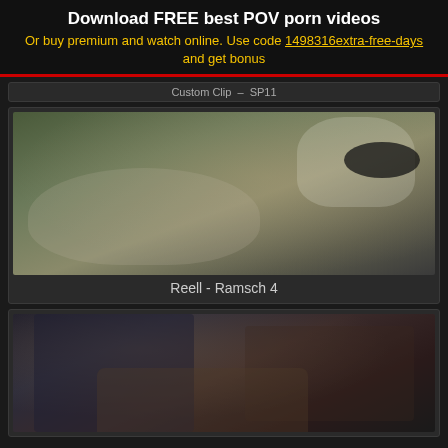Download FREE best POV porn videos
Or buy premium and watch online. Use code 1498316extra-free-days and get bonus
Custom clip - SP11
[Figure (photo): Outdoor scene with two people, one wearing a black mask lying on grass]
Reell - Ramsch 4
[Figure (photo): Woman in black latex outfit with another person, indoor scene]